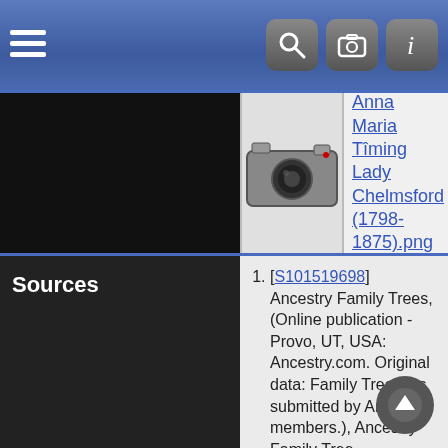Navigation bar with hamburger menu and search/camera/info icons
[Figure (photo): Camera thumbnail image next to a link: Anna Maria Timing Lady Chelmsford (1798-1875).png]
Anna Maria Timing Lady Chelmsford (1798-1875).png
1. [S101519698] Ancestry Family Trees, (Online publication - Provo, UT, USA: Ancestry.com. Original data: Family Tree files submitted by Ancestry members.), Ancestry Family Tree. http://trees.ancestry.com/pt/AMTCitationRedir.as... tid=86378838&pid=3450
2. [S136815933] Cheshire, England, Select Bishop's Transcripts, 1576-1933, Ancestry.com, (Ancestry.com Operations, Inc.).
3. [S118376160] England & Wales Marriages, 1538-1988, Ancestry.com, (Ancestry.com Operations, Inc), Collection: St James; -; Film Number: 1042322.
4. [S101519695] England, Select Births and Christenings, 1538-1975, Ancestry.com, (Ancestry.com Operations, Inc.).